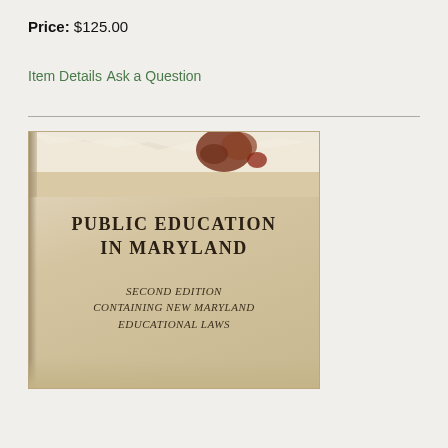Price: $125.00
Item Details
Ask a Question
[Figure (photo): Photograph of book cover: 'Public Education in Maryland, Second Edition Containing New Maryland Educational Laws'. Old book with worn/torn dust jacket top, cream/tan colored cover with black serif text.]